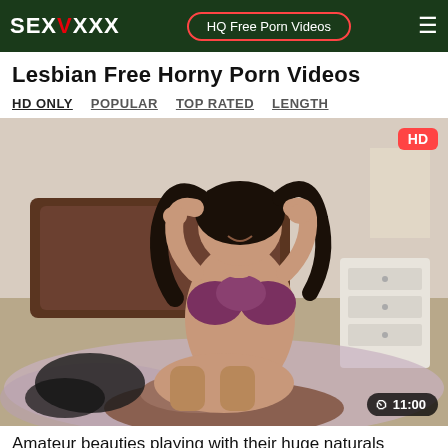SEXVXXX | HQ Free Porn Videos
Lesbian Free Horny Porn Videos
HD ONLY   POPULAR   TOP RATED   LENGTH
[Figure (photo): Video thumbnail showing two women on a bed, one wearing a purple bikini top, with an HD badge in the top right and a duration badge showing 11:00 in the bottom right.]
Amateur beauties playing with their huge naturals